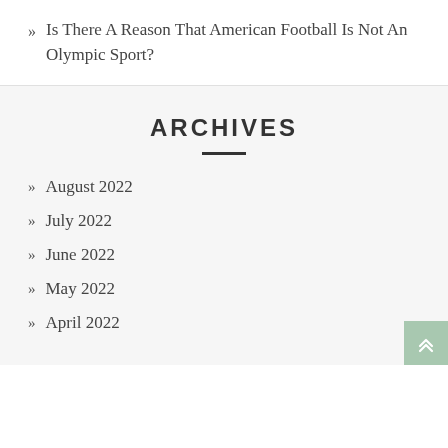Is There A Reason That American Football Is Not An Olympic Sport?
ARCHIVES
August 2022
July 2022
June 2022
May 2022
April 2022